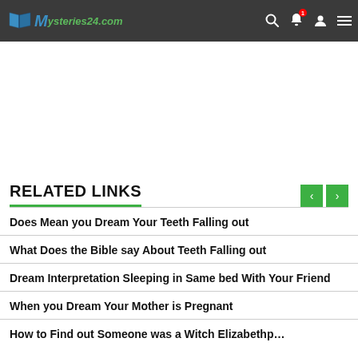Mysteries24.com
RELATED LINKS
Does Mean you Dream Your Teeth Falling out
What Does the Bible say About Teeth Falling out
Dream Interpretation Sleeping in Same bed With Your Friend
When you Dream Your Mother is Pregnant
How to Find out Someone was a Witch Elizabeth…